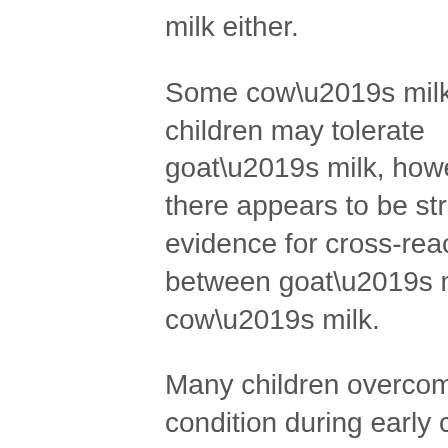milk either.
Some cow’s milk-allergic children may tolerate goat’s milk, however, there appears to be strong evidence for cross-reactivity between goat’s milk and cow’s milk.
Many children overcome the condition during early childhood, although in some individuals the